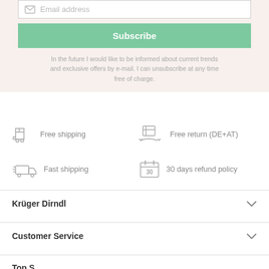[Figure (other): Email input field with envelope icon and placeholder text 'Email address']
Subscribe
In the future I would like to be informed about current trends and exclusive offers by e-mail. I can unsubscribe at any time free of charge.
[Figure (infographic): Four feature icons: Free shipping (cart icon), Free return DE+AT (package on hand icon), Fast shipping (delivery truck icon), 30 days refund policy (calendar icon)]
Free shipping
Free return (DE+AT)
Fast shipping
30 days refund policy
Krüger Dirndl
Customer Service
Top S...